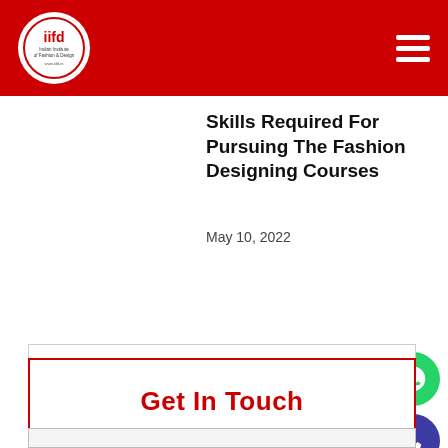iifd - Indian Institute of Fashion & Design
Skills Required For Pursuing The Fashion Designing Courses
May 10, 2022
[Figure (other): WhatsApp contact button (green circle with phone icon)]
[Figure (other): Phone call button (dark blue/indigo circle with phone handset icon)]
Get In Touch